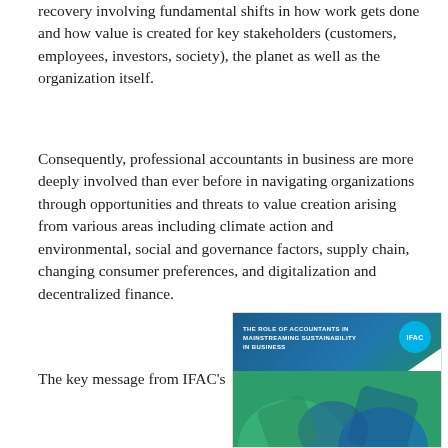recovery involving fundamental shifts in how work gets done and how value is created for key stakeholders (customers, employees, investors, society), the planet as well as the organization itself.
Consequently, professional accountants in business are more deeply involved than ever before in navigating organizations through opportunities and threats to value creation arising from various areas including climate action and environmental, social and governance factors, supply chain, changing consumer preferences, and digitalization and decentralized finance.
The key message from IFAC's
[Figure (illustration): IFAC publication cover showing 'The Role of Accountants in Mainstreaming Sustainability in Business' with IFAC logo badge on a blue and green geometric background]